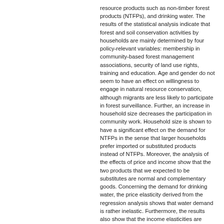resource products such as non-timber forest products (NTFPs), and drinking water. The results of the statistical analysis indicate that forest and soil conservation activities by households are mainly determined by four policy-relevant variables: membership in community-based forest management associations, security of land use rights, training and education. Age and gender do not seem to have an effect on willingness to engage in natural resource conservation, although migrants are less likely to participate in forest surveillance. Further, an increase in household size decreases the participation in community work. Household size is shown to have a significant effect on the demand for NTFPs in the sense that larger households prefer imported or substituted products instead of NTFPs. Moreover, the analysis of the effects of price and income show that the two products that we expected to be substitutes are normal and complementary goods. Concerning the demand for drinking water, the price elasticity derived from the regression analysis shows that water demand is rather inelastic. Furthermore, the results also show that the income elasticities are positive, but smaller than one, implying not surprisingly that water seems to be a necessary good in Ouagadougou.